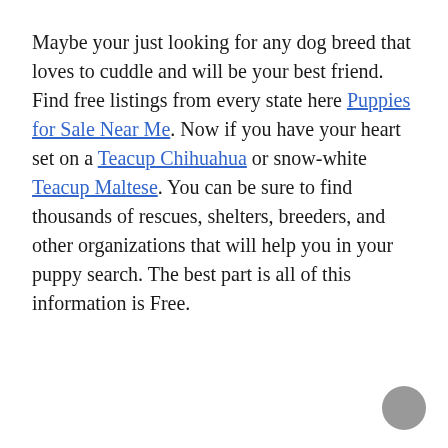Maybe your just looking for any dog breed that loves to cuddle and will be your best friend. Find free listings from every state here Puppies for Sale Near Me. Now if you have your heart set on a Teacup Chihuahua or snow-white Teacup Maltese. You can be sure to find thousands of rescues, shelters, breeders, and other organizations that will help you in your puppy search. The best part is all of this information is Free.